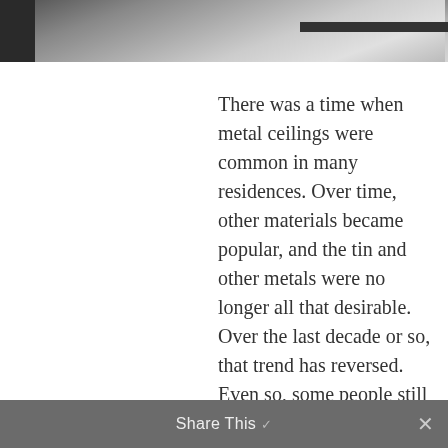[Figure (photo): A partial interior photo showing what appears to be a ceiling or doorway area, with metallic/grey tones and architectural elements visible.]
There was a time when metal ceilings were common in many residences. Over time, other materials became popular, and the tin and other metals were no longer all that desirable. Over the last decade or so, that trend has reversed. Even so, some people still wonder what the big deal is about installing a Metal Ceiling New Haven CT. Here
Share This ✓